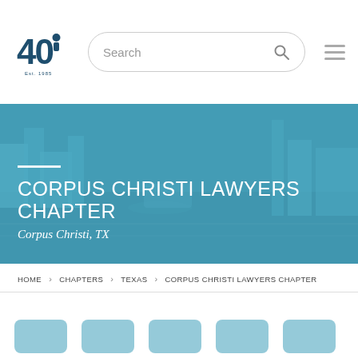[Figure (logo): 40th anniversary logo with number 40 and a figure silhouette, Est. 1985 text below]
[Figure (screenshot): Search input box with rounded border and magnifying glass icon]
[Figure (other): Hamburger menu icon with three horizontal lines]
[Figure (photo): Hero banner with blue-tinted waterfront cityscape background photo]
CORPUS CHRISTI LAWYERS CHAPTER
Corpus Christi, TX
HOME › CHAPTERS › TEXAS › CORPUS CHRISTI LAWYERS CHAPTER